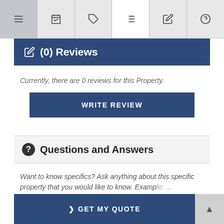Navigation tabs: menu, calendar, tag, list, edit, help
✎ (0) Reviews
Currently, there are 0 reviews for this Property.
WRITE REVIEW
❓ Questions and Answers
Want to know specifics? Ask anything about this specific property that you would like to know. Example: ...  there to be...
❯ GET MY QUOTE